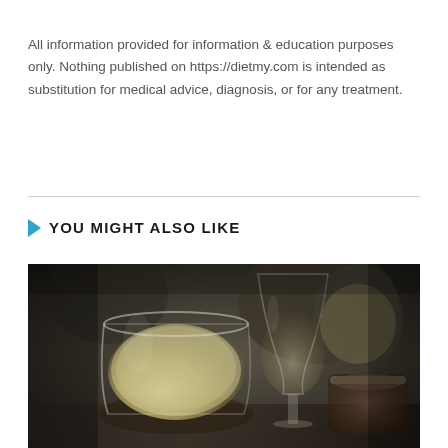All information provided for information & education purposes only. Nothing published on https://dietmy.com is intended as substitution for medical advice, diagnosis, or for any treatment.
YOU MIGHT ALSO LIKE
[Figure (photo): Photo of wine glasses on a table — a large stemless glass filled with white wine in the foreground, a stemmed wine glass in the middle, and a short tumbler glass on the right, all on a dark restaurant table setting.]